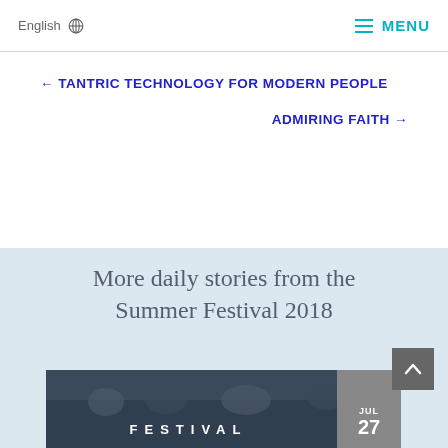English  ☰ MENU
← TANTRIC TECHNOLOGY FOR MODERN PEOPLE
ADMIRING FAITH →
More daily stories from the Summer Festival 2018
[Figure (photo): Festival crowd photo with 'FESTIVAL' text overlay and a date badge showing JUL 27]